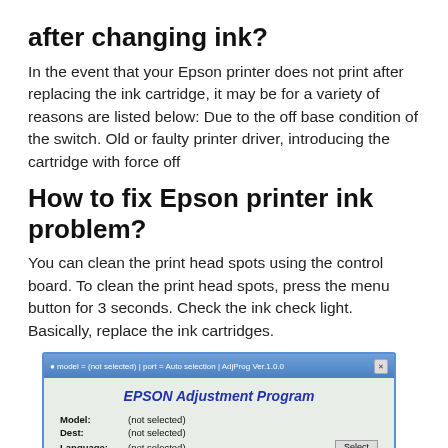after changing ink?
In the event that your Epson printer does not print after replacing the ink cartridge, it may be for a variety of reasons are listed below: Due to the off base condition of the switch. Old or faulty printer driver, introducing the cartridge with force off
How to fix Epson printer ink problem?
You can clean the print head spots using the control board. To clean the print head spots, press the menu button for 3 seconds. Check the ink check light. Basically, replace the ink cartridges.
[Figure (screenshot): EPSON Adjustment Program window showing model, dest, and language fields all set to (not selected), with a Select button visible.]